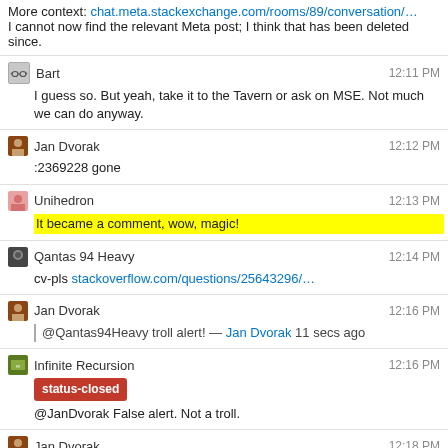More context: chat.meta.stackexchange.com/rooms/89/conversation/…
I cannot now find the relevant Meta post; I think that has been deleted since.
Bart 12:11 PM
I guess so. But yeah, take it to the Tavern or ask on MSE. Not much we can do anyway.
Jan Dvorak 12:12 PM
:2369228 gone
Unihedron 12:13 PM
It became a comment, wow, magic!
Qantas 94 Heavy 12:14 PM
cv-pls stackoverflow.com/questions/25643296/…
Jan Dvorak 12:16 PM
@Qantas94Heavy troll alert! — Jan Dvorak 11 secs ago
Infinite Recursion 12:16 PM
status-closed
@JanDvorak False alert. Not a troll.
Jan Dvorak 12:18 PM
@MartijnPieters Q94H is